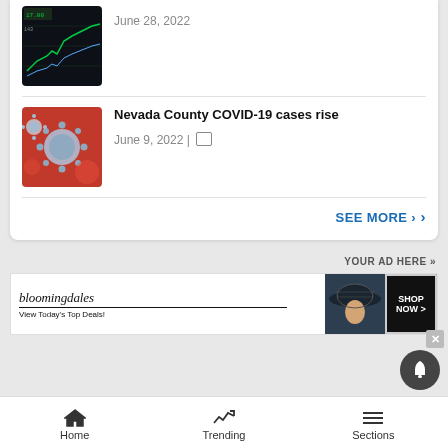[Figure (screenshot): Finance/stock chart thumbnail with dark background and green lines]
June 28, 2022
[Figure (photo): COVID-19 virus particles on red background]
Nevada County COVID-19 cases rise
June 9, 2022 |
SEE MORE ›
YOUR AD HERE »
[Figure (screenshot): Bloomingdale's advertisement banner: 'View Today's Top Deals! SHOP NOW >']
Home   Trending   Sections